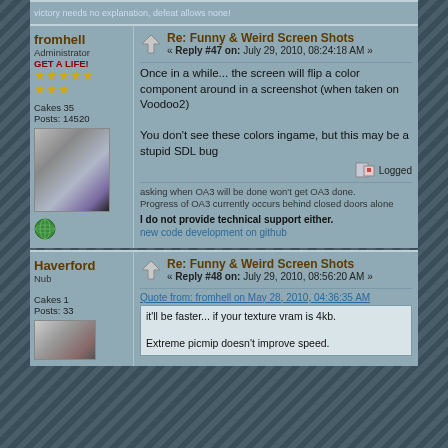victory needs no explanation, defeat allows none!
fromhell
Administrator
GET A LIFE!
Cakes 35
Posts: 14520
Re: Funny & Weird Screen Shots
« Reply #47 on: July 29, 2010, 08:24:18 AM »
Once in a while... the screen will flip a color component around in a screenshot (when taken on Voodoo2)

You don't see these colors ingame, but this may be a stupid SDL bug
Logged
asking when OA3 will be done won't get OA3 done.
Progress of OA3 currently occurs behind closed doors alone
I do not provide technical support either.
new code development on github
Haverford
Nub
Cakes 1
Posts: 33
Re: Funny & Weird Screen Shots
« Reply #48 on: July 29, 2010, 08:56:20 AM »
Quote from: fromhell on May 28, 2010, 04:36:35 AM
it'll be faster... if your texture vram is 4kb.

Extreme picmip doesn't improve speed.